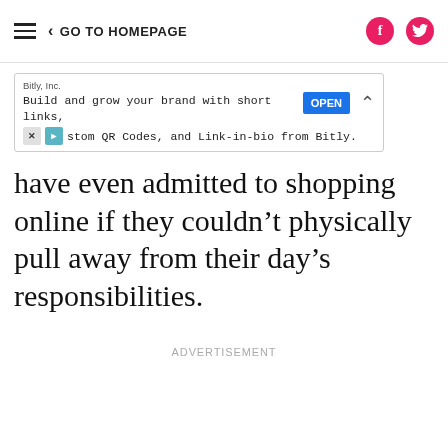GO TO HOMEPAGE
[Figure (screenshot): Advertisement banner for Bitly, Inc. showing 'Build and grow your brand with short links, Custom QR Codes, and Link-in-bio from Bitly.' with an OPEN button]
have even admitted to shopping online if they couldn’t physically pull away from their day’s responsibilities.
ADVERTISEMENT